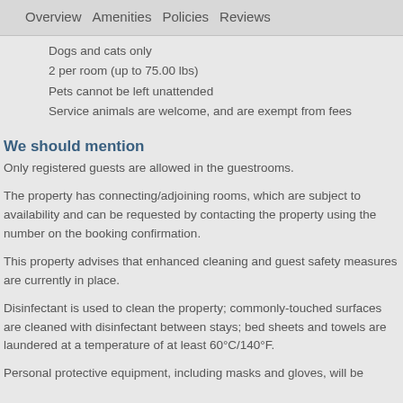Overview   Amenities   Policies   Reviews
Dogs and cats only
2 per room (up to 75.00 lbs)
Pets cannot be left unattended
Service animals are welcome, and are exempt from fees
We should mention
Only registered guests are allowed in the guestrooms.
The property has connecting/adjoining rooms, which are subject to availability and can be requested by contacting the property using the number on the booking confirmation.
This property advises that enhanced cleaning and guest safety measures are currently in place.
Disinfectant is used to clean the property; commonly-touched surfaces are cleaned with disinfectant between stays; bed sheets and towels are laundered at a temperature of at least 60°C/140°F.
Personal protective equipment, including masks and gloves, will be